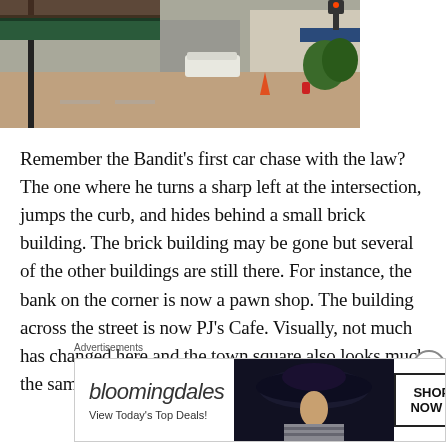[Figure (photo): Street-level photo of a town square intersection showing brick pavement, storefronts with green awnings, parked white SUV, traffic cone, fire hydrant, and trees in an overcast setting.]
Remember the Bandit's first car chase with the law? The one where he turns a sharp left at the intersection, jumps the curb, and hides behind a small brick building. The brick building may be gone but several of the other buildings are still there. For instance, the bank on the corner is now a pawn shop. The building across the street is now PJ's Cafe. Visually, not much has changed here and the town square also looks much the same as it did during the car
Advertisements
[Figure (other): Bloomingdale's advertisement banner showing the Bloomingdales logo in italic text, tagline 'View Today's Top Deals!', an image of a woman wearing a large dark hat, and a 'SHOP NOW >' button.]